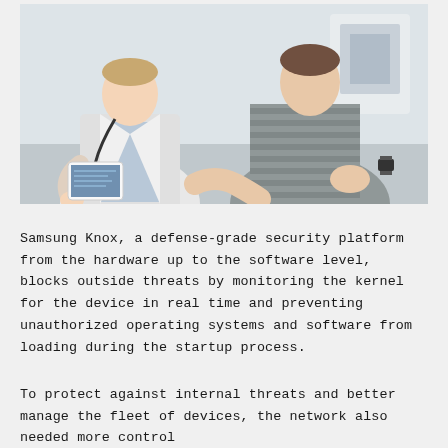[Figure (photo): A doctor in a white coat holding a tablet/smartphone showing medical data to a patient in a striped shirt, seated in a clinical setting with medical equipment in the background.]
Samsung Knox, a defense-grade security platform from the hardware up to the software level, blocks outside threats by monitoring the kernel for the device in real time and preventing unauthorized operating systems and software from loading during the startup process.
To protect against internal threats and better manage the fleet of devices, the network also needed more control